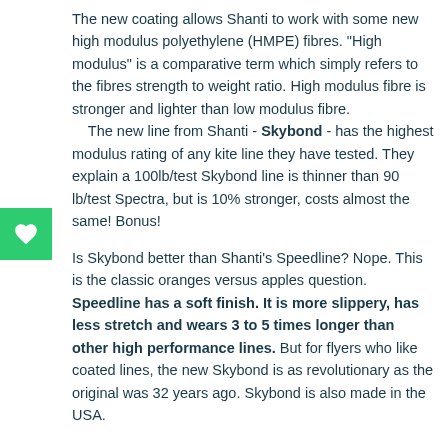The new coating allows Shanti to work with some new high modulus polyethylene (HMPE) fibres.  "High modulus" is a comparative term which simply refers to the fibres  strength to weight ratio.  High modulus fibre is stronger and lighter than low modulus fibre.     The new line from Shanti - Skybond - has the highest modulus rating of any kite line they have tested.  They explain a 100lb/test Skybond line is thinner than 90 lb/test Spectra, but is 10% stronger, costs almost the same!  Bonus!
Is Skybond better than Shanti's Speedline?  Nope.  This is the classic oranges versus apples question. Speedline has a soft finish.  It is more slippery, has less stretch and wears 3 to 5 times longer than other high performance lines.  But for flyers who like coated lines, the new Skybond is as revolutionary as the original was 32 years ago.  Skybond is also made in the USA.